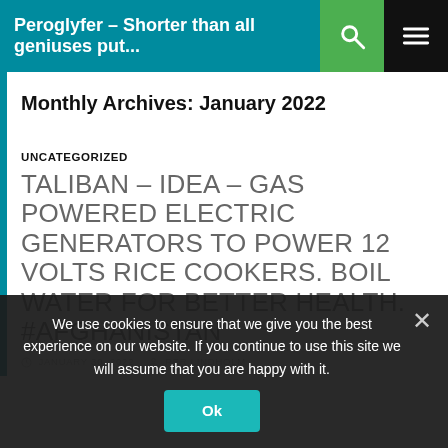Peroglyfer – Shorter than all geniuses put...
Monthly Archives: January 2022
UNCATEGORIZED
TALIBAN – IDEA – GAS POWERED ELECTRIC GENERATORS TO POWER 12 VOLTS RICE COOKERS. BOIL WATER FOR BETTER HEALTH. #AFGHANISTAN
JANUARY 30, 2022   PER LINDHOLM
We use cookies to ensure that we give you the best experience on our website. If you continue to use this site we will assume that you are happy with it.